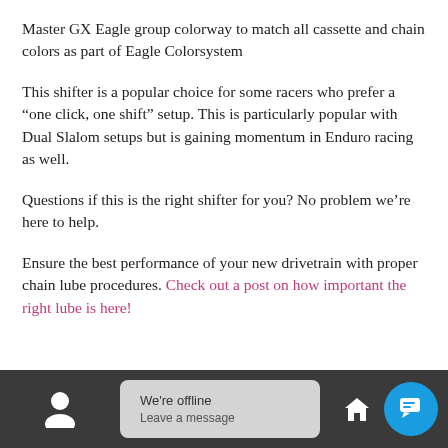Master GX Eagle group colorway to match all cassette and chain colors as part of Eagle Colorsystem
This shifter is a popular choice for some racers who prefer a “one click, one shift” setup. This is particularly popular with Dual Slalom setups but is gaining momentum in Enduro racing as well.
Questions if this is the right shifter for you? No problem we’re here to help.
Ensure the best performance of your new drivetrain with proper chain lube procedures. Check out a post on how important the right lube is here!
[Figure (screenshot): Dark toolbar at bottom of screen with user icon on left, offline chat popup in center reading 'We're offline / Leave a message', home icon, and blue chat button on right.]